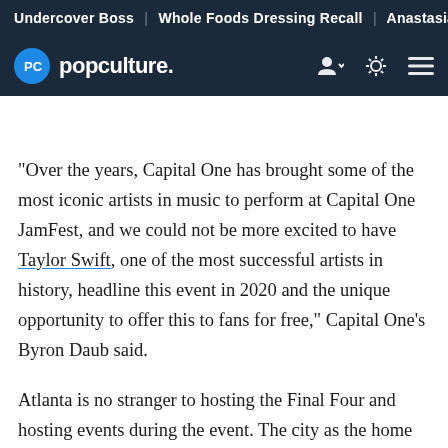Undercover Boss | Whole Foods Dressing Recall | Anastasia
[Figure (logo): Popculture.com logo with blue circle PC icon and navigation icons]
"Over the years, Capital One has brought some of the most iconic artists in music to perform at Capital One JamFest, and we could not be more excited to have Taylor Swift, one of the most successful artists in history, headline this event in 2020 and the unique opportunity to offer this to fans for free," Capital One's Byron Daub said.
Atlanta is no stranger to hosting the Final Four and hosting events during the event. The city as the home of the